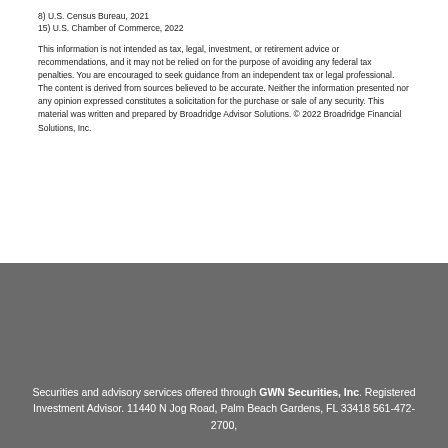8) U.S. Census Bureau, 2021
15) U.S. Chamber of Commerce, 2022
This information is not intended as tax, legal, investment, or retirement advice or recommendations, and it may not be relied on for the purpose of avoiding any federal tax penalties. You are encouraged to seek guidance from an independent tax or legal professional. The content is derived from sources believed to be accurate. Neither the information presented nor any opinion expressed constitutes a solicitation for the purchase or sale of any security. This material was written and prepared by Broadridge Advisor Solutions. © 2022 Broadridge Financial Solutions, Inc.
Securities and advisory services offered through GWN Securities, Inc. Registered Investment Advisor. 11440 N Jog Road, Palm Beach Gardens, FL 33418 561-472-2700,